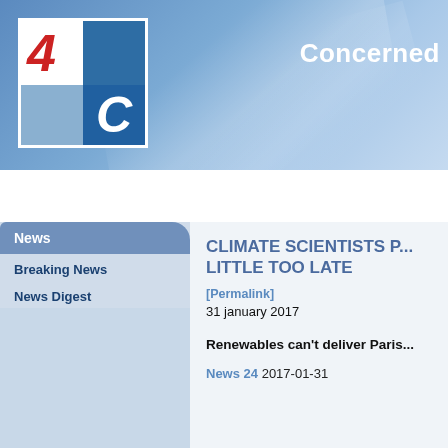[Figure (logo): 4C logo: four-quadrant grid with red italic '4' top-left, dark blue top-right, light blue bottom-left, dark blue bottom-right with white italic 'C']
Concerned
Welcome | Petition | News | Events | Op-ed & docs
News
Breaking News
News Digest
CLIMATE SCIENTISTS P... LITTLE TOO LATE
[Permalink]
31 january 2017
Renewables can't deliver Paris...
News 24 2017-01-31